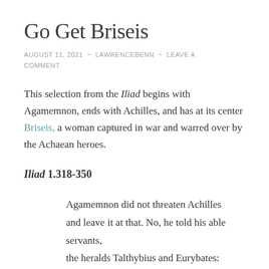Go Get Briseis
AUGUST 11, 2021  ~  LAWRENCEBENN  ~  LEAVE A COMMENT
This selection from the Iliad begins with Agamemnon, ends with Achilles, and has at its center Briseis, a woman captured in war and warred over by the Achaean heroes.
Iliad 1.318-350
Agamemnon did not threaten Achilles and leave it at that. No, he told his able servants,
the heralds Talthybius and Eurybates:
“Go to Achilles’ hut, take Briseis by the arm,